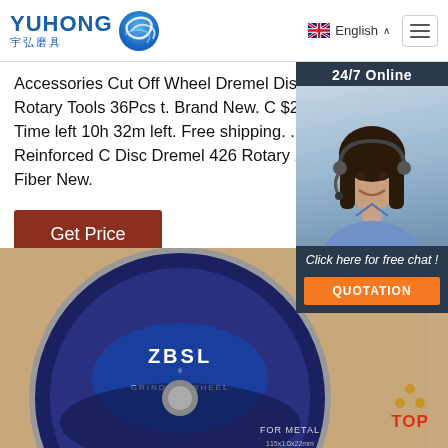[Figure (logo): YUHONG 宇弘磨具 logo with blue wave/sphere icon]
English
Accessories Cut Off Wheel Dremel Disc Abrasive Rotary Tools 36Pcs t. Brand New. C $2.81. 8 bids · Time left 10h 32m left. Free shipping. ... 20X Reinforced C Disc Dremel 426 Rotary 1-1/4' x 0.045' Fiber New.
Get Price
[Figure (photo): Customer service agent woman with headset, dark hair, smiling, with 24/7 Online banner overlay]
Click here for free chat !
QUOTATION
[Figure (photo): ZBSL Grinding Wheel For Metal abrasive disc product photograph on beige/tan background]
[Figure (other): TOP scroll-to-top button with orange dots triangle and red TOP text]